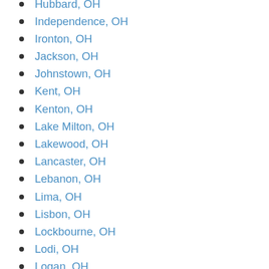Hubbard, OH
Independence, OH
Ironton, OH
Jackson, OH
Johnstown, OH
Kent, OH
Kenton, OH
Lake Milton, OH
Lakewood, OH
Lancaster, OH
Lebanon, OH
Lima, OH
Lisbon, OH
Lockbourne, OH
Lodi, OH
Logan, OH
London, OH
Lorain, OH